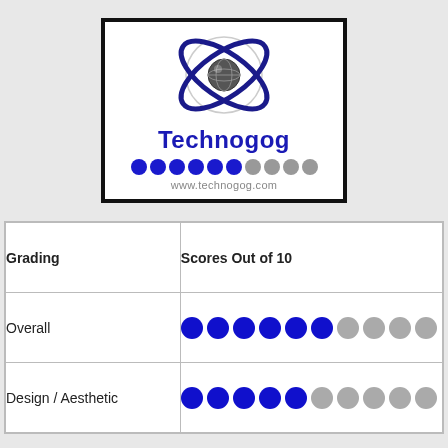[Figure (logo): Technogog logo with atom/globe icon, blue dot rating bar, and www.technogog.com URL]
| Grading | Scores Out of 10 |
| --- | --- |
| Overall | 6 out of 10 (dots) |
| Design / Aesthetic | 5 out of 10 (dots) |